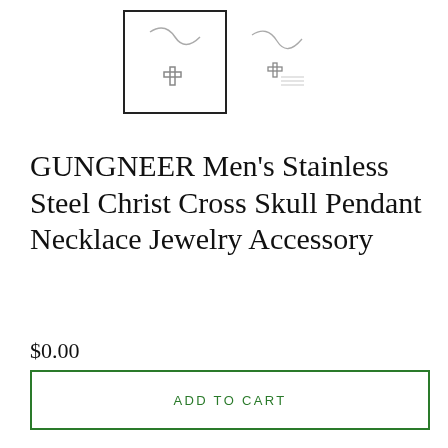[Figure (photo): Two product images of a stainless steel cross skull pendant necklace. Left image is a larger main thumbnail in a square border showing the necklace with cross pendant. Right image is a smaller secondary thumbnail showing the same necklace with some text.]
GUNGNEER Men's Stainless Steel Christ Cross Skull Pendant Necklace Jewelry Accessory
$0.00
ADD TO CART